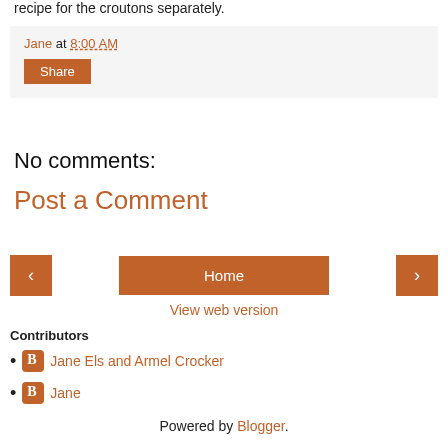recipe for the croutons separately.
Jane at 8:00 AM
Share
No comments:
Post a Comment
‹   Home   ›
View web version
Contributors
Jane Els and Armel Crocker
Jane
Powered by Blogger.